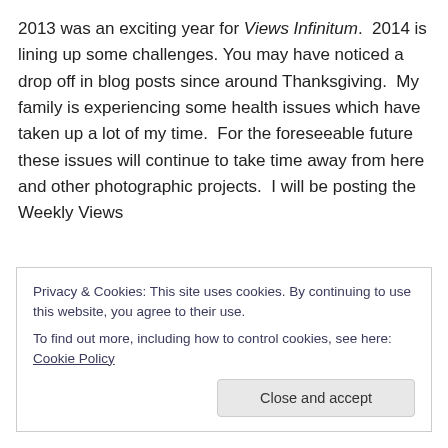2013 was an exciting year for Views Infinitum. 2014 is lining up some challenges. You may have noticed a drop off in blog posts since around Thanksgiving. My family is experiencing some health issues which have taken up a lot of my time. For the foreseeable future these issues will continue to take time away from here and other photographic projects. I will be posting the Weekly Views
Privacy & Cookies: This site uses cookies. By continuing to use this website, you agree to their use. To find out more, including how to control cookies, see here: Cookie Policy
Close and accept